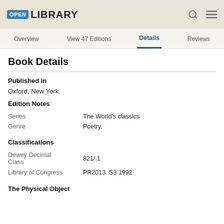OPEN LIBRARY
Overview  View 47 Editions  Details  Reviews
Book Details
Published in
Oxford, New York
Edition Notes
|  |  |
| --- | --- |
| Series | The World's classics |
| Genre | Poetry. |
Classifications
|  |  |
| --- | --- |
| Dewey Decimal Class | 821/.1 |
| Library of Congress | PR2013 .S3 1992 |
The Physical Object